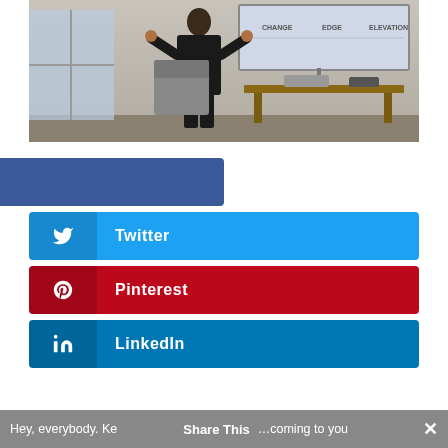[Figure (photo): A person in a dark suit standing and presenting in front of a screen showing 'CHANGE', 'EDGE', 'ELEVATION' text, with a wooden desk/table behind them.]
Facebook
Twitter
Pinterest
LinkedIn
Hey, everybody. Ke… Share This …coming to you ×